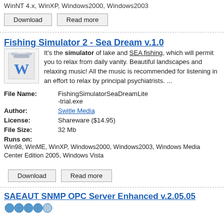WinNT 4.x, WinXP, Windows2000, Windows2003
[Figure (other): Download and Read more buttons]
Fishing Simulator 2 - Sea Dream  v.1.0
[Figure (logo): Application icon with gear and W letter]
It's the simulator of lake and SEA fishing, which will permit you to relax from daily vanity. Beautiful landscapes and relaxing music! All the music is recommended for listening in an effort to relax by principal psychiatrists. ...
| File Name: | FishingSimulatorSeaDreamLite-trial.exe |
| Author: | Switle Media |
| License: | Shareware ($14.95) |
| File Size: | 32 Mb |
Runs on:
Win98, WinME, WinXP, Windows2000, Windows2003, Windows Media Center Edition 2005, Windows Vista
[Figure (other): Download and Read more buttons]
SAEAUT SNMP OPC Server Enhanced  v.2.05.05
[Figure (other): Star rating icons]